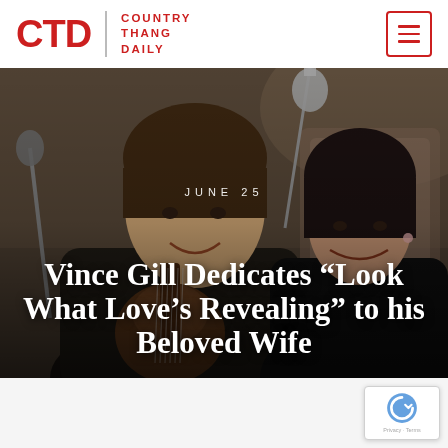CTD | COUNTRY THANG DAILY
[Figure (photo): Vince Gill playing guitar and smiling, with a woman smiling beside him, microphone in foreground, outdoor or indoor casual setting]
JUNE 25
Vince Gill Dedicates “Look What Love’s Revealing” to his Beloved Wife